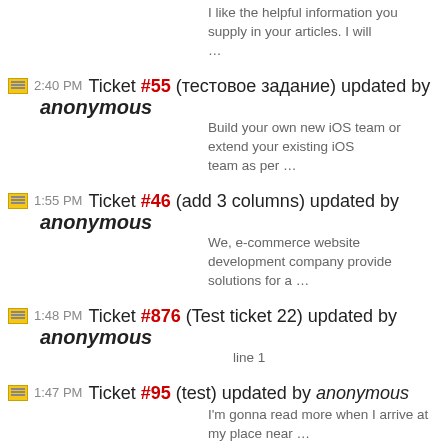I like the helpful information you supply in your articles. I will …
2:40 PM Ticket #55 (тестовое задание) updated by anonymous — Build your own new iOS team or extend your existing iOS team as per …
1:55 PM Ticket #46 (add 3 columns) updated by anonymous — We, e-commerce website development company provide solutions for a …
1:48 PM Ticket #876 (Test ticket 22) updated by anonymous — line 1
1:47 PM Ticket #95 (test) updated by anonymous — I'm gonna read more when I arrive at my place near …
1:45 PM Ticket #876 (Test ticket 22) created by anonymous
1:15 PM Ticket #875 (New York SEO Services) created by anonymous